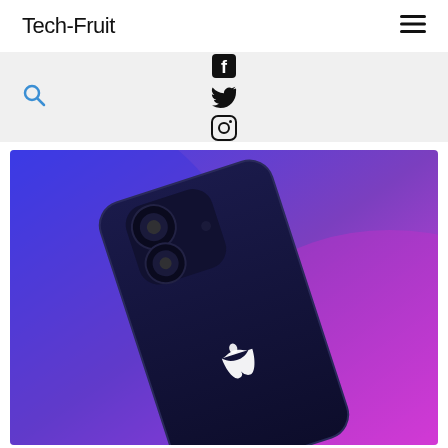Tech-Fruit
[Figure (screenshot): Tech-Fruit website header with logo, hamburger menu, search icon, and social media icons (Facebook, Twitter, Instagram) on a light gray background]
[Figure (photo): Dark blue iPhone 12 lying on a blue to magenta/pink gradient background, showing the back of the phone with dual camera and Apple logo]